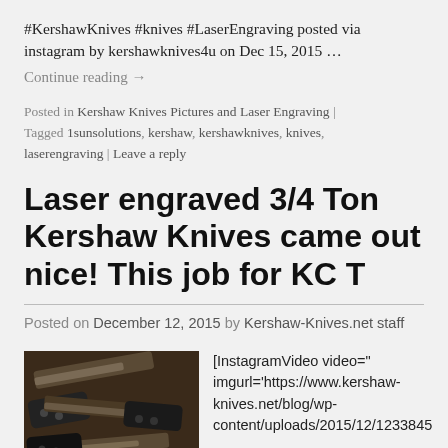#KershawKnives #knives #LaserEngraving posted via instagram by kershawknives4u on Dec 15, 2015 …
Continue reading →
Posted in Kershaw Knives Pictures and Laser Engraving | Tagged 1sunsolutions, kershaw, kershawknives, knives, laserengraving | Leave a reply
Laser engraved 3/4 Ton Kershaw Knives came out nice! This job for KC T
Posted on December 12, 2015 by Kershaw-Knives.net staff
[Figure (photo): Photo of laser engraved Kershaw knives, dark background]
[InstagramVideo video=" imgurl='https://www.kershaw-knives.net/blog/wp-content/uploads/2015/12/1233845